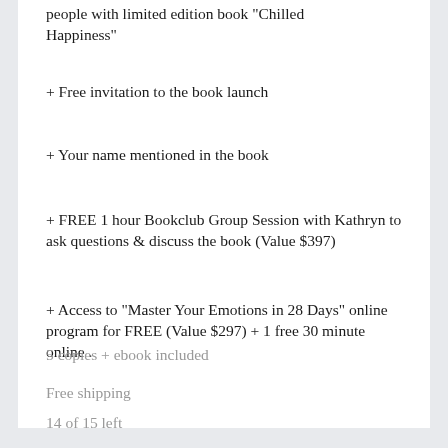people with limited edition book “Chilled Happiness”
+ Free invitation to the book launch
+ Your name mentioned in the book
+ FREE 1 hour Bookclub Group Session with Kathryn to ask questions & discuss the book (Value $397)
+ Access to "Master Your Emotions in 28 Days" online program for FREE (Value $297) + 1 free 30 minute online .
5 copies + ebook included
Free shipping
14 of 15 left